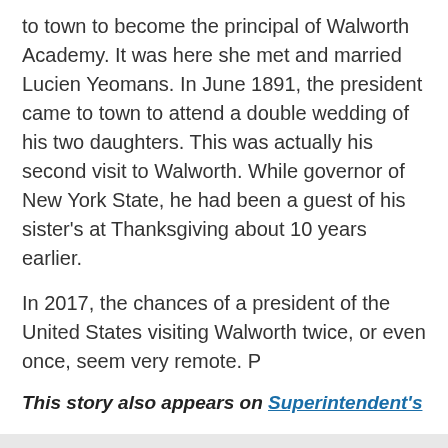to town to become the principal of Walworth Academy. It was here she met and married Lucien Yeomans. In June 1891, the president came to town to attend a double wedding of his two daughters. This was actually his second visit to Walworth. While governor of New York State, he had been a guest of his sister's at Thanksgiving about 10 years earlier.
In 2017, the chances of a president of the United States visiting Walworth twice, or even once, seem very remote. P
This story also appears on Superintendent's
Join our newsletter today for free